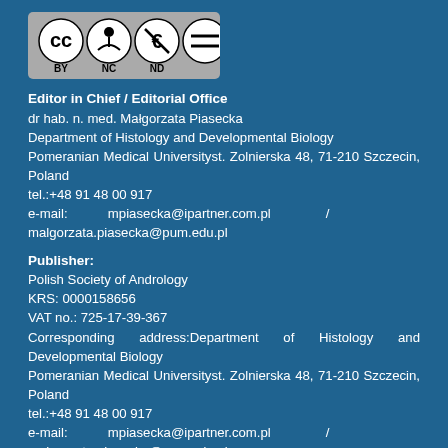[Figure (logo): Creative Commons BY NC ND license logo]
Editor in Chief / Editorial Office
dr hab. n. med. Małgorzata Piasecka
Department of Histology and Developmental Biology
Pomeranian Medical Universityst. Zolnierska 48, 71-210 Szczecin, Poland
tel.:+48 91 48 00 917
e-mail: mpiasecka@ipartner.com.pl / malgorzata.piasecka@pum.edu.pl
Publisher:
Polish Society of Andrology
KRS: 0000158656
VAT no.: 725-17-39-367
Corresponding address:Department of Histology and Developmental Biology
Pomeranian Medical Universityst. Zolnierska 48, 71-210 Szczecin, Poland
tel.:+48 91 48 00 917
e-mail: mpiasecka@ipartner.com.pl / malgorzata.piasecka@pum.edu.pl